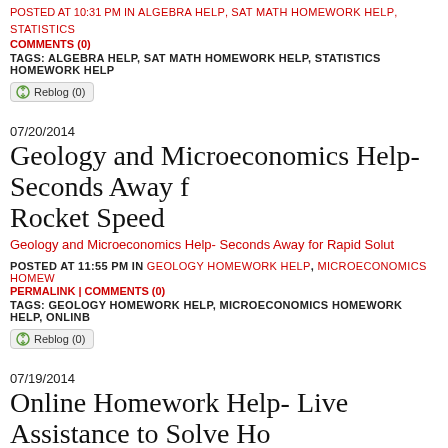POSTED AT 10:31 PM IN ALGEBRA HELP, SAT MATH HOMEWORK HELP, STATISTICS...
COMMENTS (0)
TAGS: ALGEBRA HELP, SAT MATH HOMEWORK HELP, STATISTICS HOMEWORK HELP
Reblog (0)
07/20/2014
Geology and Microeconomics Help- Seconds Away for Rocket Speed
Geology and Microeconomics Help- Seconds Away for Rapid Solutions
POSTED AT 11:55 PM IN GEOLOGY HOMEWORK HELP, MICROECONOMICS HOMEWORK... PERMALINK | COMMENTS (0)
TAGS: GEOLOGY HOMEWORK HELP, MICROECONOMICS HOMEWORK HELP, ONLINE...
Reblog (0)
07/19/2014
Online Homework Help- Live Assistance to Solve Homework Problems
Online Homework Help- Live Assistance to Solve Homework Problems
POSTED AT 12:34 AM IN ONLINE HOMEWORK HELP, ONLINE READING TUTOR, READ... COMMENTS (0)